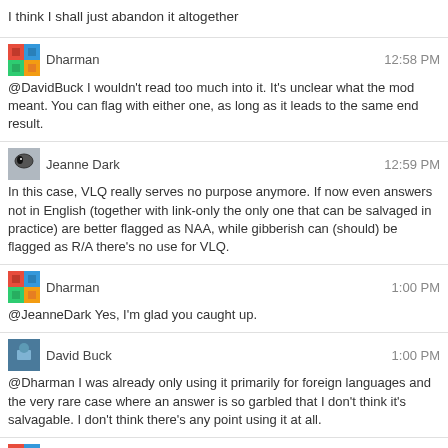I think I shall just abandon it altogether
Dharman 12:58 PM
@DavidBuck I wouldn't read too much into it. It's unclear what the mod meant. You can flag with either one, as long as it leads to the same end result.
Jeanne Dark 12:59 PM
In this case, VLQ really serves no purpose anymore. If now even answers not in English (together with link-only the only one that can be salvaged in practice) are better flagged as NAA, while gibberish can (should) be flagged as R/A there's no use for VLQ.
Dharman 1:00 PM
@JeanneDark Yes, I'm glad you caught up.
David Buck 1:00 PM
@Dharman I was already only using it primarily for foreign languages and the very rare case where an answer is so garbled that I don't think it's salvagable. I don't think there's any point using it at all.
Dharman 1:01 PM
It is useful when you flag it as NAA, OP deletes and undeletes, then you can reflag as VLQ
Ryan M 1:02 PM
+1, they really should remove it. Everyone hates it: users hate it because they have no idea how it's supposed to be used, mods hate it because they have no idea why it exists and they have to decline a bunch of flags for using/at least tell users to use other ones.